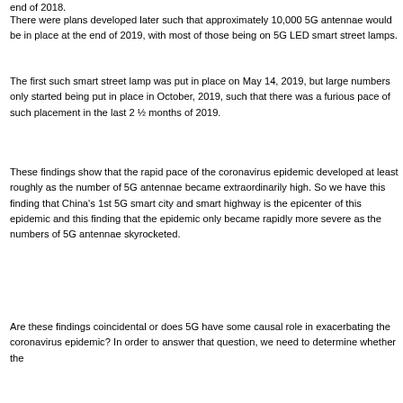end of 2018.
There were plans developed later such that approximately 10,000 5G antennae would be in place at the end of 2019, with most of those being on 5G LED smart street lamps.
The first such smart street lamp was put in place on May 14, 2019, but large numbers only started being put in place in October, 2019, such that there was a furious pace of such placement in the last 2 ½ months of 2019.
These findings show that the rapid pace of the coronavirus epidemic developed at least roughly as the number of 5G antennae became extraordinarily high. So we have this finding that China's 1st 5G smart city and smart highway is the epicenter of this epidemic and this finding that the epidemic only became rapidly more severe as the numbers of 5G antennae skyrocketed.
Are these findings coincidental or does 5G have some causal role in exacerbating the coronavirus epidemic? In order to answer that question, we need to determine whether the